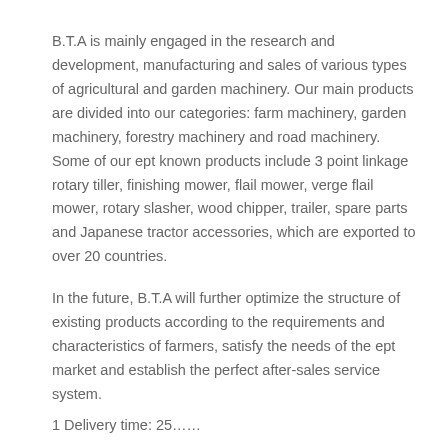B.T.A is mainly engaged in the research and development, manufacturing and sales of various types of agricultural and garden machinery. Our main products are divided into our categories: farm machinery, garden machinery, forestry machinery and road machinery. Some of our ept known products include 3 point linkage rotary tiller, finishing mower, flail mower, verge flail mower, rotary slasher, wood chipper, trailer, spare parts and Japanese tractor accessories, which are exported to over 20 countries.
In the future, B.T.A will further optimize the structure of existing products according to the requirements and characteristics of farmers, satisfy the needs of the ept market and establish the perfect after-sales service system.
1 Delivery time: 25……